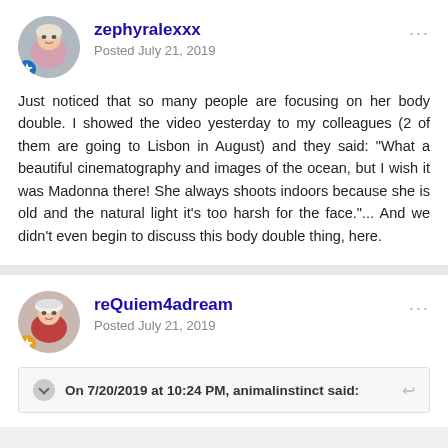zephyralexxx
Posted July 21, 2019
Just noticed that so many people are focusing on her body double. I showed the video yesterday to my colleagues (2 of them are going to Lisbon in August) and they said: "What a beautiful cinematography and images of the ocean, but I wish it was Madonna there! She always shoots indoors because she is old and the natural light it's too harsh for the face."... And we didn't even begin to discuss this body double thing, here.
reQuiem4adream
Posted July 21, 2019
On 7/20/2019 at 10:24 PM, animalinstinct said: